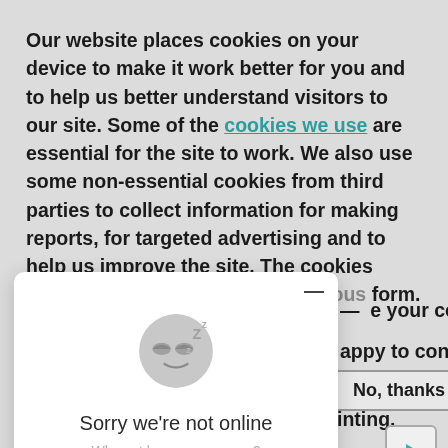Our website places cookies on your device to make it work better for you and to help us better understand visitors to our site. Some of the cookies we use are essential for the site to work. We also use some non-essential cookies from third parties to collect information for making reports, for targeted advertising and to help us improve the site. The cookies collect information in an anonymous form. To find [— e your cookie] [appy to continue] [...printing.]
[Figure (screenshot): Chat popup overlay showing a sleeping emoji face with Z letters, text 'Sorry we're not online' and link 'Why not leave a message?' with a minimize button (—) in top right corner]
No, thanks